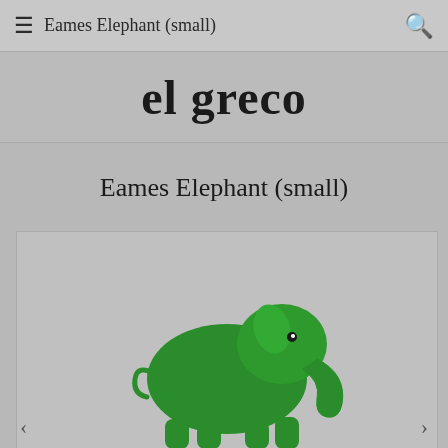Eames Elephant (small)
el greco
Eames Elephant (small)
[Figure (photo): Green Eames Elephant (small) toy/sculpture on grey background, partially cropped at bottom of page]